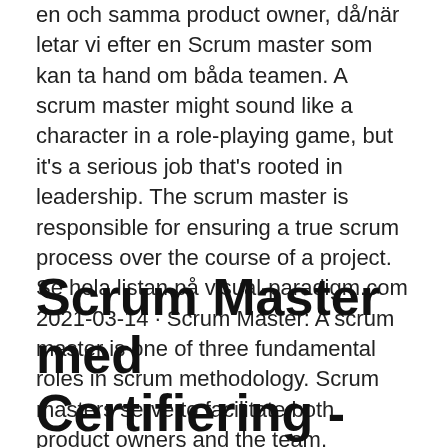en och samma product owner, då/när letar vi efter en Scrum master som kan ta hand om båda teamen. A scrum master might sound like a character in a role-playing game, but it's a serious job that's rooted in leadership. The scrum master is responsible for ensuring a true scrum process over the course of a project. Se hela listan på visual-paradigm.com 2021-03-14 · Scrum Master: A scrum master is one of three fundamental roles in scrum methodology. Scrum masters serve to facilitate both product owners and the team.
Scrum Master med Certifiering - Informator Utbildning